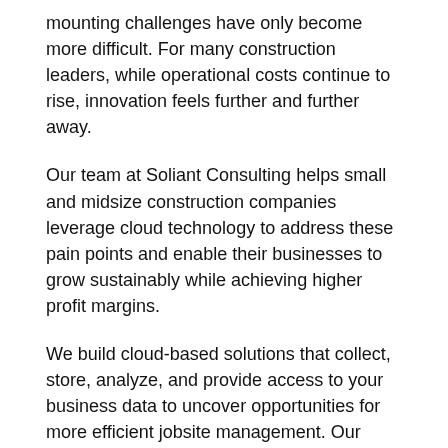mounting challenges have only become more difficult. For many construction leaders, while operational costs continue to rise, innovation feels further and further away.
Our team at Soliant Consulting helps small and midsize construction companies leverage cloud technology to address these pain points and enable their businesses to grow sustainably while achieving higher profit margins.
We build cloud-based solutions that collect, store, analyze, and provide access to your business data to uncover opportunities for more efficient jobsite management. Our clients benefit from connected jobsites, real-time insights into all of their projects in one centralized system available anytime from anywhere, and automated data management processes.
And we don't stop there — this is just the starting...